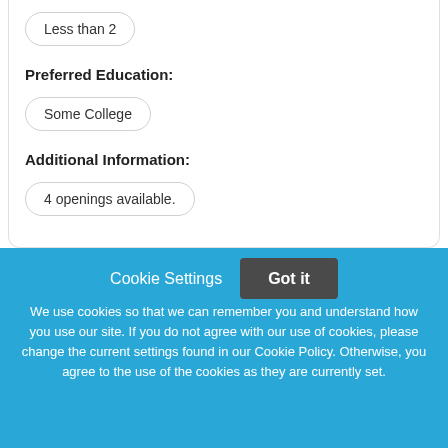Less than 2
Preferred Education:
Some College
Additional Information:
4 openings available.
Cookie Settings
Got it
We use cookies so that we can remember you and understand how you use our site. If you do not agree with our use of cookies, please change the current settings found in our Cookie Policy. Otherwise, you agree to the use of the cookies as they are currently set.